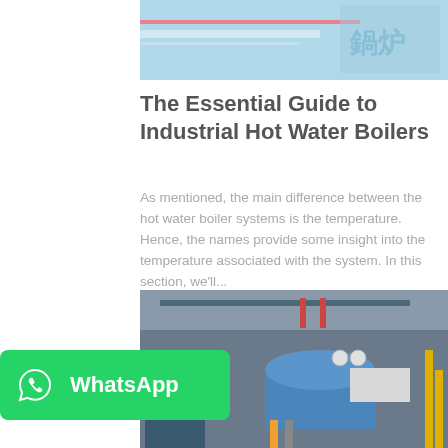[Figure (photo): Industrial boiler or manufacturing facility with Chinese characters visible, blue/cyan tones]
The Essential Guide to Industrial Hot Water Boilers
As mentioned, the main difference between the hot water boiler systems is the temperature. Hence, the names provide some insight into the temperature associated with the system. In this section, we'll...
[Figure (screenshot): Get Price button - cyan/teal rounded rectangle]
[Figure (photo): Industrial boiler room with large cylindrical vessels, pipes, and equipment]
[Figure (logo): WhatsApp green banner with WhatsApp icon and text]